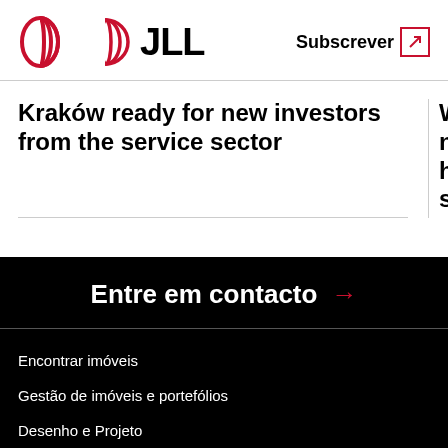JLL | Subscrever
Kraków ready for new investors from the service sector
Warsaw's housing st
Entre em contacto →
Encontrar imóveis
Gestão de imóveis e portefólios
Desenho e Projeto